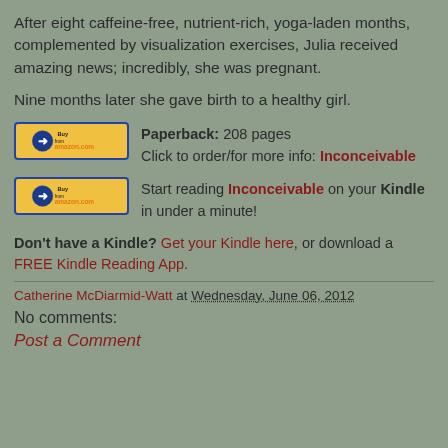After eight caffeine-free, nutrient-rich, yoga-laden months, complemented by visualization exercises, Julia received amazing news; incredibly, she was pregnant.
Nine months later she gave birth to a healthy girl.
[Figure (other): Amazon Buy button with text: Paperback: 208 pages. Click to order/for more info: Inconceivable]
[Figure (other): Amazon Buy button with text: Start reading Inconceivable on your Kindle in under a minute!]
Don't have a Kindle? Get your Kindle here, or download a FREE Kindle Reading App.
Catherine McDiarmid-Watt at Wednesday, June 06, 2012
No comments:
Post a Comment